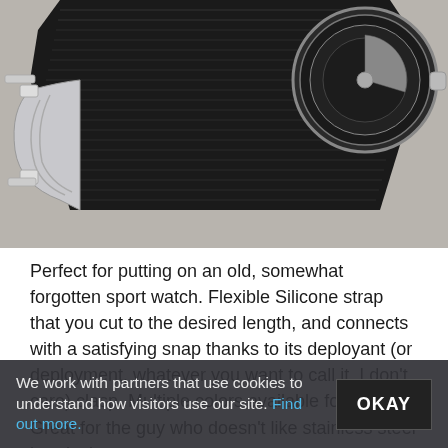[Figure (photo): Close-up photo of a watch with a black silicone/nylon strap and a large silver deployant (deployment) clasp, photographed from the back/underside on a grey surface. The watch mechanism is partially visible on the right side.]
Perfect for putting on an old, somewhat forgotten sport watch. Flexible Silicone strap that you cut to the desired length, and connects with a satisfying snap thanks to its deployant (or deployment, whatever you want to call it, I don't care) clasp. Multiple colors available for 20mm. Great for the guy who doesn't like stainless steel bands, but
We work with partners that use cookies to understand how visitors use our site. Find out more.